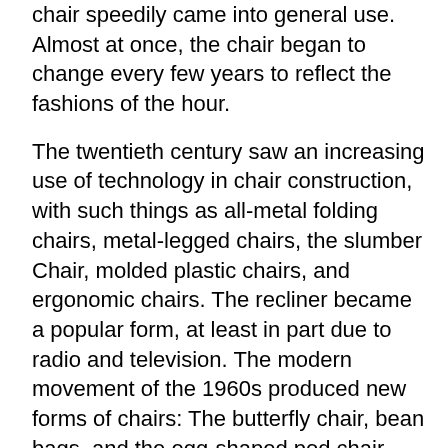chair speedily came into general use. Almost at once, the chair began to change every few years to reflect the fashions of the hour.
The twentieth century saw an increasing use of technology in chair construction, with such things as all-metal folding chairs, metal-legged chairs, the slumber Chair, molded plastic chairs, and ergonomic chairs. The recliner became a popular form, at least in part due to radio and television. The modern movement of the 1960s produced new forms of chairs: The butterfly chair, bean bags, and the egg-shaped pod chair. Technological advances led to molded plywood and wood laminate chairs, as well as chairs made of leather or polymers. Mechanical technology incorporated into the chair enabled adjustable chairs, especially for office use. Motors embedded in the chair resulted in massage chairs.
Design and ergonomics